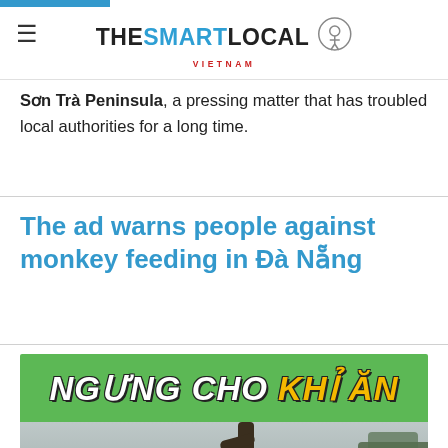THE SMART LOCAL VIETNAM
Sơn Trà Peninsula, a pressing matter that has troubled local authorities for a long time.
The ad warns people against monkey feeding in Đà Nẵng
[Figure (photo): Video thumbnail showing a person in a black costume and white mask standing near a tree in a natural outdoor setting. Green banner at top reads 'NGƯNG CHO KHỈ ĂN' (Stop feeding monkeys) in white and yellow bold text.]